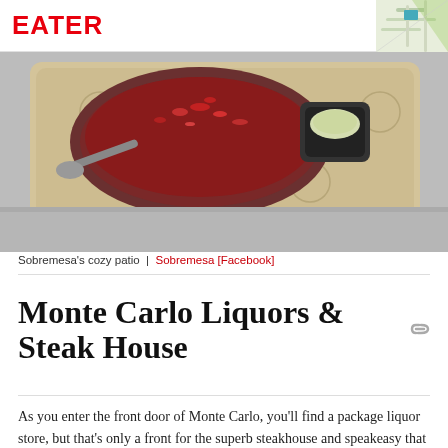EATER | MAP VIEW
[Figure (photo): Food tray with a bowl of soup topped with red garnish and a small cup with white sauce, on a snowy surface]
Sobremesa's cozy patio | Sobremesa [Facebook]
Monte Carlo Liquors & Steak House
As you enter the front door of Monte Carlo, you'll find a package liquor store, but that's only a front for the superb steakhouse and speakeasy that lives in the back. The dimly lit dining room, with curved vinyl booths and walls